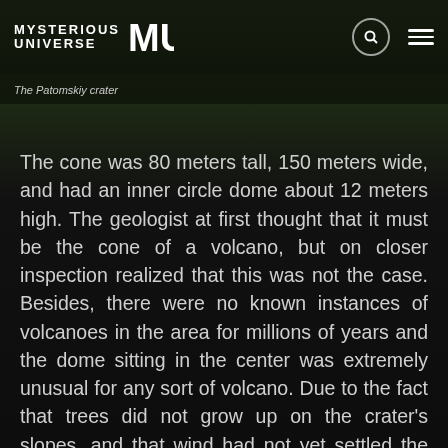MYSTERIOUS UNIVERSE
The Patomskiy crater
The cone was 80 meters tall, 150 meters wide, and had an inner circle dome about 12 meters high. The geologist at first thought that it must be the cone of a volcano, but on closer inspection realized that this was not the case. Besides, there were no known instances of volcanoes in the area for millions of years and the dome sitting in the center was extremely unusual for any sort of volcano. Due to the fact that trees did not grow up on the crater's slopes, and that wind had not yet settled the soil, Kolpakov estimated the crater's age as being